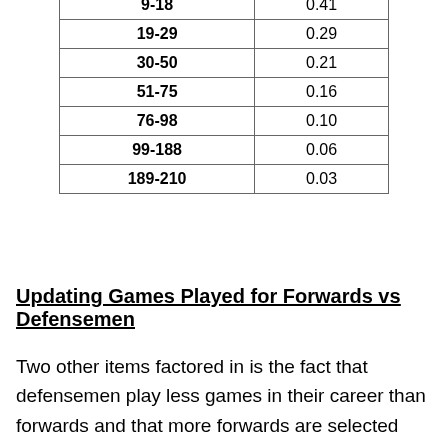| Range | Value |
| --- | --- |
| 9-18 | 0.41 |
| 19-29 | 0.29 |
| 30-50 | 0.21 |
| 51-75 | 0.16 |
| 76-98 | 0.10 |
| 99-188 | 0.06 |
| 189-210 | 0.03 |
Updating Games Played for Forwards vs Defensemen
Two other items factored in is the fact that defensemen play less games in their career than forwards and that more forwards are selected than defensemen. In
Privacy & Cookies: This site uses cookies. By continuing to use this website, you agree to their use.
To find out more, including how to control cookies, see here: Cookie Policy